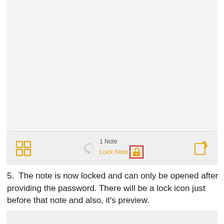[Figure (screenshot): Mobile app screenshot showing a notes app toolbar at the bottom with a grid icon on the left, a spinning loader, '1 Note' text, 'Lock Now' text in orange, an unlocked padlock icon highlighted with a red border, and a compose/edit icon on the right.]
5. The note is now locked and can only be opened after providing the password. There will be a lock icon just before that note and also, it's preview.
[Figure (screenshot): Partial screenshot of the notes app visible at the bottom of the page.]